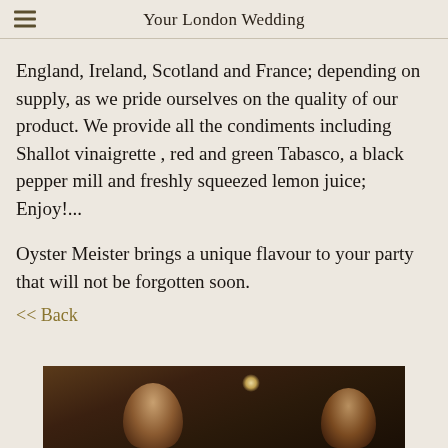Your London Wedding
England, Ireland, Scotland and France; depending on supply, as we pride ourselves on the quality of our product. We provide all the condiments including Shallot vinaigrette , red and green Tabasco, a black pepper mill and freshly squeezed lemon juice; Enjoy!...
Oyster Meister brings a unique flavour to your party that will not be forgotten soon.
<< Back
[Figure (photo): Dark photo of people at a party or event, showing at least two people with overhead lighting visible]